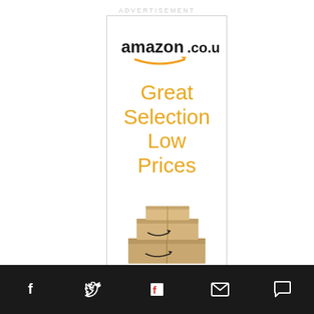ADVERTISEMENT
[Figure (illustration): Amazon.co.uk advertisement banner showing the Amazon logo with smile, text 'Great Selection Low Prices' in orange, and stacked Amazon boxes at the bottom]
[Figure (illustration): Social media sharing bar with icons for Facebook, Twitter, Flipboard, Email, and Comments]